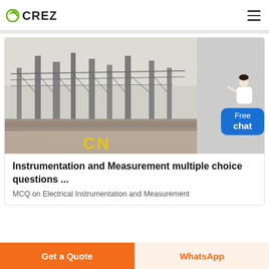CREZ
[Figure (photo): Industrial facility with steel framework structures and railway tracks in the foreground, with 'CN' painted in yellow on a concrete wall]
Instrumentation and Measurement multiple choice questions ...
MCQ on Electrical Instrumentation and Measurement
Get a Quote
WhatsApp